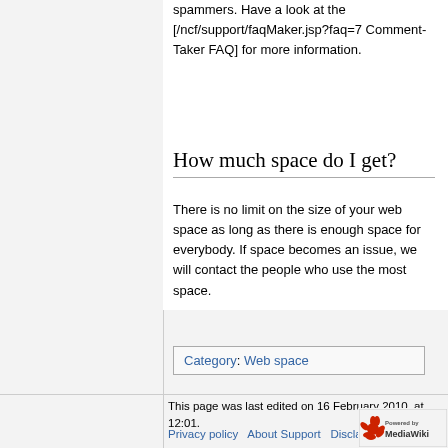spammers. Have a look at the [/ncf/support/faqMaker.jsp?faq=7 Comment-Taker FAQ] for more information.
How much space do I get?
There is no limit on the size of your web space as long as there is enough space for everybody. If space becomes an issue, we will contact the people who use the most space.
Category:  Web space
This page was last edited on 16 February 2010, at 12:01.
Privacy policy   About Support   Disclaimers